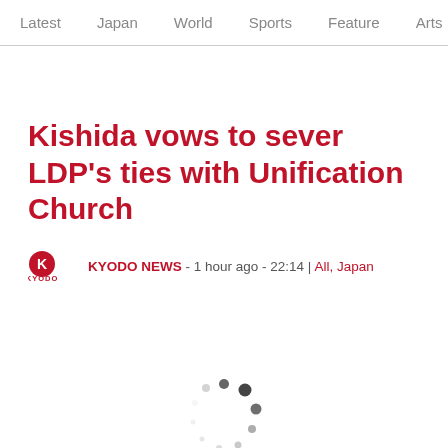Latest  Japan  World  Sports  Feature  Arts
Kishida vows to sever LDP's ties with Unification Church
KYODO NEWS - 1 hour ago - 22:14 | All, Japan
[Figure (other): Loading spinner animation — circular arrangement of dots in varying sizes]